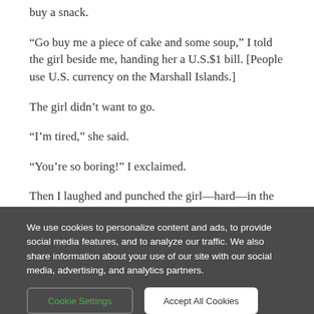buy a snack.
“Go buy me a piece of cake and some soup,” I told the girl beside me, handing her a U.S.$1 bill. [People use U.S. currency on the Marshall Islands.]
The girl didn’t want to go.
“I’m tired,” she said.
“You’re so boring!” I exclaimed.
Then I laughed and punched the girl—hard—in the shoulder.
We use cookies to personalize content and ads, to provide social media features, and to analyze our traffic. We also share information about your use of our site with our social media, advertising, and analytics partners.
Cookie Settings
Accept All Cookies